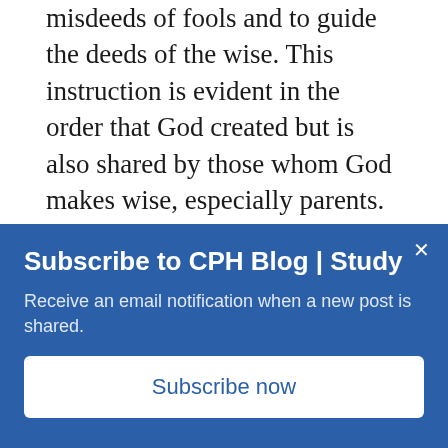misdeeds of fools and to guide the deeds of the wise. This instruction is evident in the order that God created but is also shared by those whom God makes wise, especially parents.
Specific Gospel Themes in Proverbs
The Lord watches out for us and wants us to discover the wisdom of His ways. He created the world through wisdom, and wisdom is His
Subscribe to CPH Blog | Study
Receive an email notification when a new post is shared.
Subscribe now